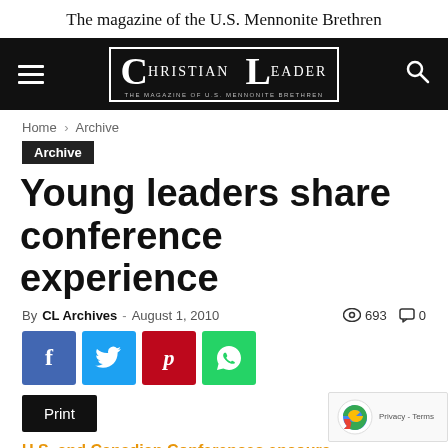The magazine of the U.S. Mennonite Brethren
[Figure (logo): Christian Leader magazine logo — CL monogram in white on black background with nav bar containing hamburger menu and search icon]
Home › Archive
Archive
Young leaders share conference experience
By CL Archives - August 1, 2010  693  0
[Figure (infographic): Social sharing buttons: Facebook (blue), Twitter (light blue), Pinterest (red), WhatsApp (green), and a Print button (black)]
U.S. and Canadian Conferences encoura